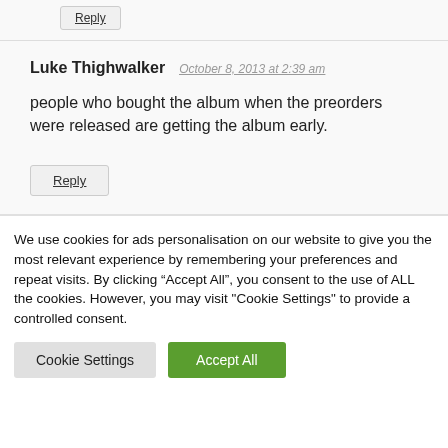Reply
Luke Thighwalker  October 8, 2013 at 2:39 am
people who bought the album when the preorders were released are getting the album early.
Reply
We use cookies for ads personalisation on our website to give you the most relevant experience by remembering your preferences and repeat visits. By clicking “Accept All”, you consent to the use of ALL the cookies. However, you may visit "Cookie Settings" to provide a controlled consent.
Cookie Settings
Accept All